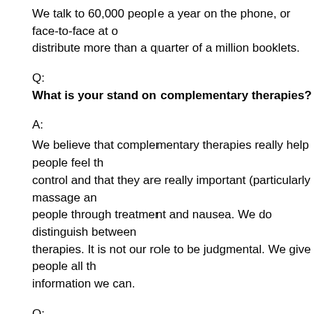We talk to 60,000 people a year on the phone, or face-to-face at o distribute more than a quarter of a million booklets.
Q:
What is your stand on complementary therapies?
A:
We believe that complementary therapies really help people feel th control and that they are really important (particularly massage an people through treatment and nausea. We do distinguish between therapies. It is not our role to be judgmental. We give people all th information we can.
Q:
What have been the high points so far, of your time as CEO?
A:
The main achievement is that people can now get through to Can ring two or three times, and we've employed more nurses to respo Telephone Helpline Association's award for "helpline service of the